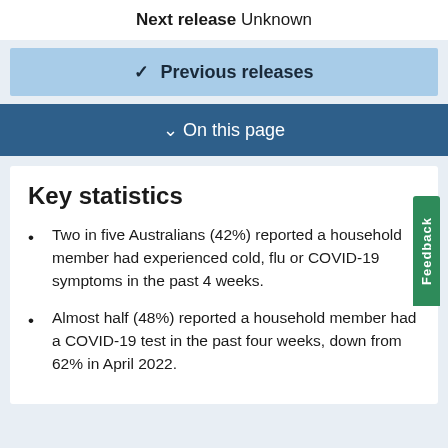Next release Unknown
Previous releases
On this page
Key statistics
Two in five Australians (42%) reported a household member had experienced cold, flu or COVID-19 symptoms in the past 4 weeks.
Almost half (48%) reported a household member had a COVID-19 test in the past four weeks, down from 62% in April 2022.